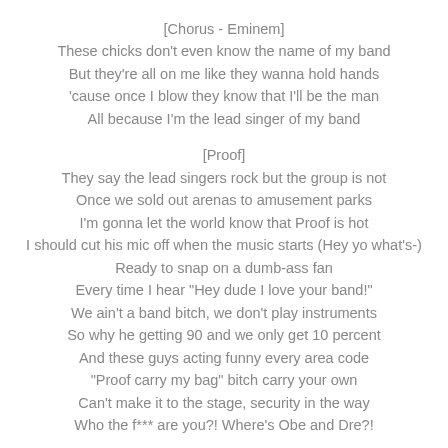[Chorus - Eminem]
These chicks don't even know the name of my band
But they're all on me like they wanna hold hands
'cause once I blow they know that I'll be the man
All because I'm the lead singer of my band
[Proof]
They say the lead singers rock but the group is not
Once we sold out arenas to amusement parks
I'm gonna let the world know that Proof is hot
I should cut his mic off when the music starts (Hey yo what's-)
Ready to snap on a dumb-ass fan
Every time I hear "Hey dude I love your band!"
We ain't a band bitch, we don't play instruments
So why he getting 90 and we only get 10 percent
And these guys acting funny every area code
"Proof carry my bag" bitch carry your own
Can't make it to the stage, security in the way
Who the f*** are you?! Where's Obe and Dre?!